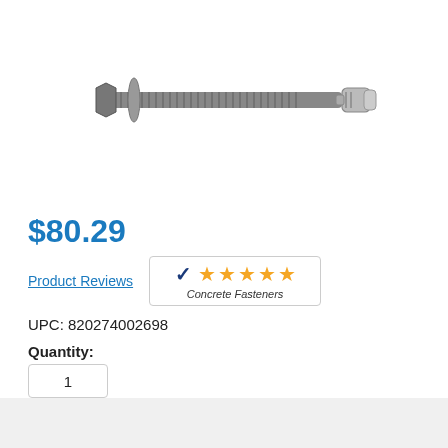[Figure (photo): A concrete wedge anchor bolt with hex nut, washer, and expansion clip, shown horizontally. The bolt has threaded shaft and metallic silver finish.]
$80.29
Product Reviews
[Figure (infographic): Concrete Fasteners 5-star rating badge with checkmark logo and 5 orange stars]
UPC: 820274002698
Quantity:
1